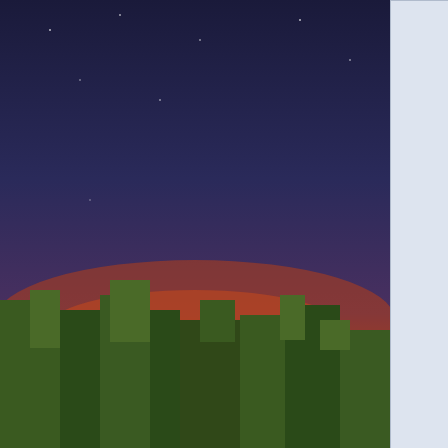[Figure (photo): Minecraft-style landscape screenshot showing a blocky sunset scene with dark blue/purple sky and green terrain silhouette with orange/red glow on the horizon]
Apply tag changes (apply...
Change ... and edit pages (...
Edit page...
Edit page... "Allow o... (editp...
Edit the ... page (editc...
Mark edi... (minor...
View your watchlist (viewmywatchlist)
View you... (viewm...
Edit your watchlist
Edit you...